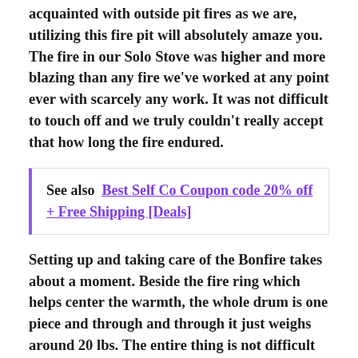acquainted with outside pit fires as we are, utilizing this fire pit will absolutely amaze you. The fire in our Solo Stove was higher and more blazing than any fire we've worked at any point ever with scarcely any work. It was not difficult to touch off and we truly couldn't really accept that how long the fire endured.
See also  Best Self Co Coupon code 20% off + Free Shipping [Deals]
Setting up and taking care of the Bonfire takes about a moment. Beside the fire ring which helps center the warmth, the whole drum is one piece and through and through it just weighs around 20 lbs. The entire thing is not difficult to move since it's genuinely lightweight and it doesn't leave any mess. Since it